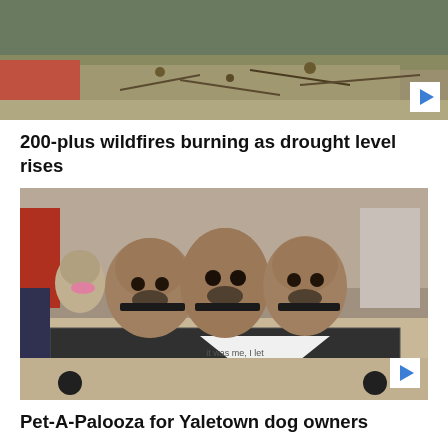[Figure (photo): Top portion of a wildfire/drought scene photo showing dry brush and rocky ground]
200-plus wildfires burning as drought level rises
[Figure (photo): Three French Bulldogs sitting in a wagon/cart with a bandana sign reading 'it was me, I let the dogs out', surrounded by people at an outdoor dog event]
Pet-A-Palooza for Yaletown dog owners